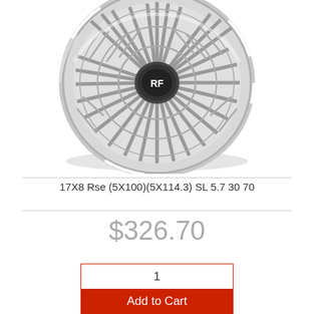[Figure (photo): Silver alloy wheel with RF center cap, multi-spoke mesh design, viewed at an angle on white background]
17X8 Rse (5X100)(5X114.3) SL 5.7 30 70
$326.70
1
Add to Cart